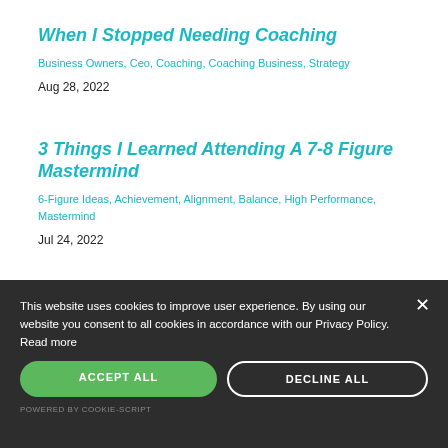When I Stopped Needing Coaching
Business Owners, Ceo, Coaching, Coaching Business, Strategy
Aug 28, 2022
3 Things I Learned Attending A 7-8 Figure Mastermind
6-Figure Ideas, Achievement, Alignment, Balance, High Performance, Mastermind
Jul 24, 2022
This website uses cookies to improve user experience. By using our website you consent to all cookies in accordance with our Privacy Policy. Read more
ACCEPT ALL
DECLINE ALL
POWERED BY COOKIE-SCRIPT